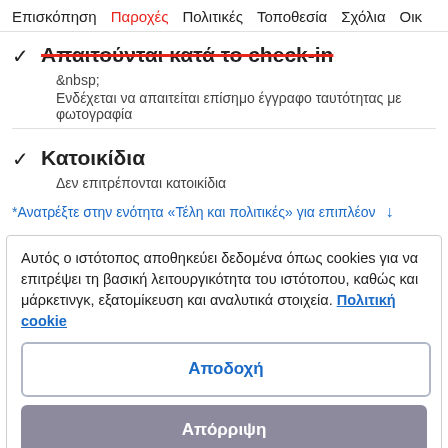Επισκόπηση  Παροχές  Πολιτικές  Τοποθεσία  Σχόλια  Οικ
✓ Απαιτούνται κατά το check-in
&nbsp;
Ενδέχεται να απαιτείται επίσημο έγγραφο ταυτότητας με φωτογραφία
✓ Κατοικίδια
Δεν επιτρέπονται κατοικίδια
*Ανατρέξτε στην ενότητα «Τέλη και πολιτικές» για επιπλέον
Αυτός ο ιστότοπος αποθηκεύει δεδομένα όπως cookies για να επιτρέψει τη βασική λειτουργικότητα του ιστότοπου, καθώς και μάρτκετινγκ, εξατομίκευση και αναλυτικά στοιχεία. Πολιτική cookie
Αποδοχή
Απόρριψη